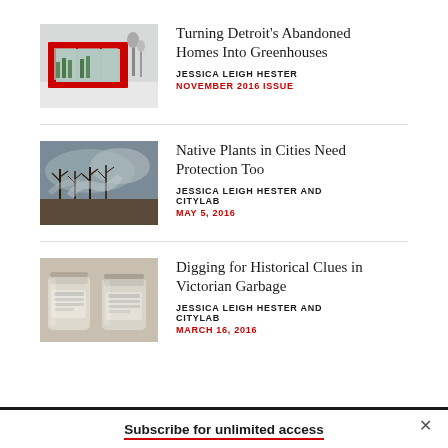[Figure (photo): Rendering of a shipping container converted into a greenhouse, surrounded by snow]
Turning Detroit's Abandoned Homes Into Greenhouses
JESSICA LEIGH HESTER
NOVEMBER 2016 ISSUE
[Figure (photo): Field with smoke and bare trees, prescribed burn scene]
Native Plants in Cities Need Protection Too
JESSICA LEIGH HESTER AND CITYLAB
MAY 5, 2016
[Figure (photo): Two vintage glass jars with labels]
Digging for Historical Clues in Victorian Garbage
JESSICA LEIGH HESTER AND CITYLAB
MARCH 16, 2016
Subscribe for unlimited access